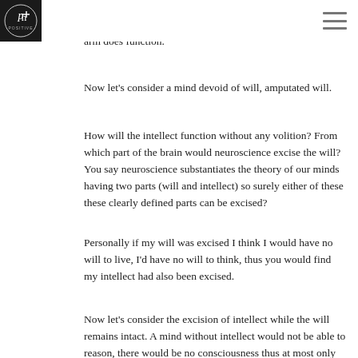[Logo] [Hamburger menu]
other arm continues to function? Obviously with only one arm your ability to grasp things is reduced but the remaining arm does function.
Now let’s consider a mind devoid of will, amputated will.
How will the intellect function without any volition? From which part of the brain would neuroscience excise the will? You say neuroscience substantiates the theory of our minds having two parts (will and intellect) so surely either of these these clearly defined parts can be excised?
Personally if my will was excised I think I would have no will to live, I’d have no will to think, thus you would find my intellect had also been excised.
Now let’s consider the excision of intellect while the will remains intact. A mind without intellect would not be able to reason, there would be no consciousness thus at most only the autonomic nervous system would function, therefore the person with no intellect would exhibit no consciousness